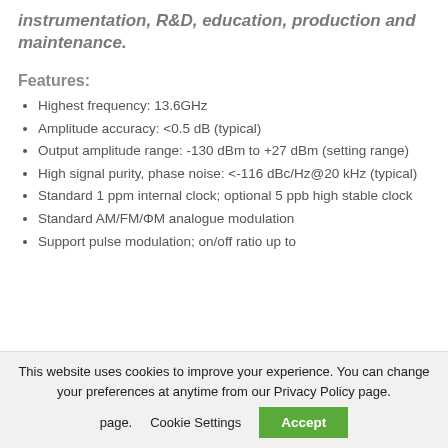instrumentation, R&D, education, production and maintenance.
Features:
Highest frequency: 13.6GHz
Amplitude accuracy: <0.5 dB (typical)
Output amplitude range: -130 dBm to +27 dBm (setting range)
High signal purity, phase noise: <-116 dBc/Hz@20 kHz (typical)
Standard 1 ppm internal clock; optional 5 ppb high stable clock
Standard AM/FM/ΦM analogue modulation
Support pulse modulation; on/off ratio up to
This website uses cookies to improve your experience. You can change your preferences at anytime from our Privacy Policy page.
Cookie Settings
Accept